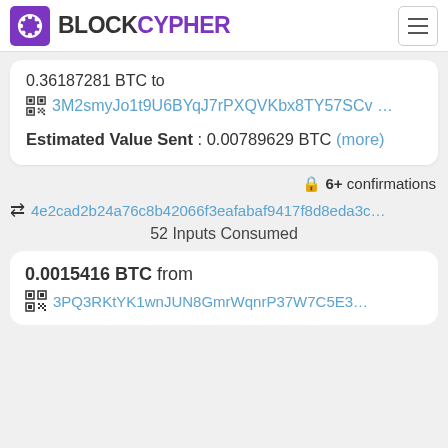BLOCKCYPHER
0.36187281 BTC to 3M2smyJo1t9U6BYqJ7rPXQVKbx8TY57SCv …
Estimated Value Sent : 0.00789629 BTC (more)
🔒 6+ confirmations
4e2cad2b24a76c8b42066f3eafabaf9417f8d8eda3c…
52 Inputs Consumed
0.0015416 BTC from 3PQ3RKtYK1wnJUN8GmrWqnrP37W7C5E3…